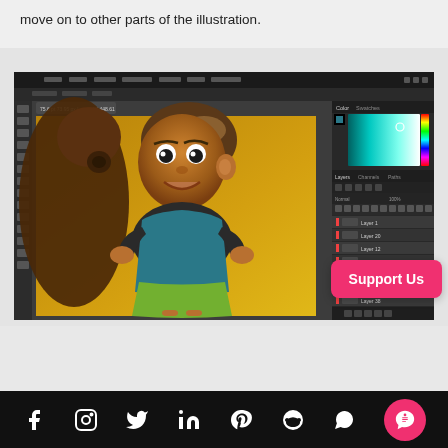move on to other parts of the illustration.
[Figure (screenshot): Screenshot of Adobe Photoshop showing a 3D cartoon character illustration of a girl with short brown hair, wearing a teal top and green skirt, posed with hands on hips against a golden/amber background with a dark brown shadow shape on the left. The Photoshop interface shows color picker panel on right and layers panel below it. A pink 'Support Us' button overlays the bottom-right corner of the screenshot.]
f  [instagram]  [twitter]  in  [pinterest]  [reddit]  [whatsapp]  [chat]